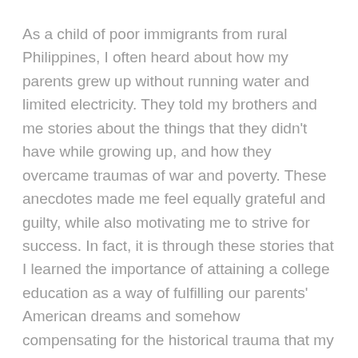As a child of poor immigrants from rural Philippines, I often heard about how my parents grew up without running water and limited electricity. They told my brothers and me stories about the things that they didn't have while growing up, and how they overcame traumas of war and poverty. These anecdotes made me feel equally grateful and guilty, while also motivating me to strive for success. In fact, it is through these stories that I learned the importance of attaining a college education as a way of fulfilling our parents' American dreams and somehow compensating for the historical trauma that my family had overcome for centuries.